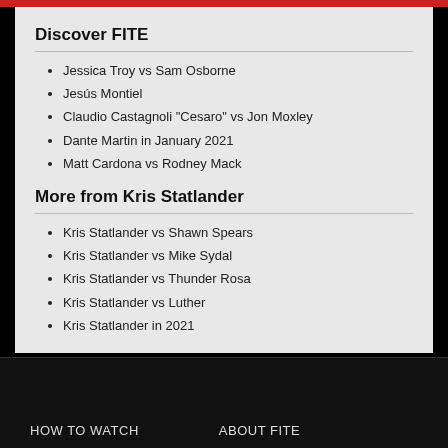Discover FITE
Jessica Troy vs Sam Osborne
Jesús Montiel
Claudio Castagnoli "Cesaro" vs Jon Moxley
Dante Martin in January 2021
Matt Cardona vs Rodney Mack
More from Kris Statlander
Kris Statlander vs Shawn Spears
Kris Statlander vs Mike Sydal
Kris Statlander vs Thunder Rosa
Kris Statlander vs Luther
Kris Statlander in 2021
HOW TO WATCH    About FITE